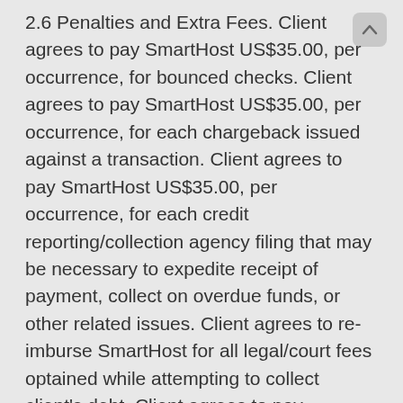2.6 Penalties and Extra Fees. Client agrees to pay SmartHost US$35.00, per occurrence, for bounced checks. Client agrees to pay SmartHost US$35.00, per occurrence, for each chargeback issued against a transaction. Client agrees to pay SmartHost US$35.00, per occurrence, for each credit reporting/collection agency filing that may be necessary to expedite receipt of payment, collect on overdue funds, or other related issues. Client agrees to re-imburse SmartHost for all legal/court fees optained while attempting to collect client's debt. Client agrees to pay SmartHost US$50.00 for each re-activation of a suspended account. The US$50.00 re-activation fee is per account, with an account potentially containing multiple websites, servers, or other services. Client agrees to pay SmartHost US$25.00 for violations of the "Abusive Clientele"